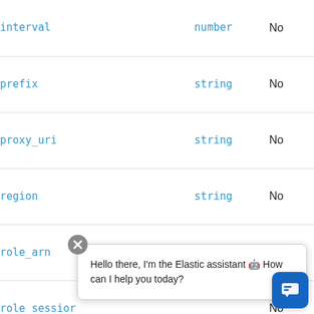| Parameter | Type | Required |
| --- | --- | --- |
| interval | number | No |
| prefix | string | No |
| proxy_uri | string | No |
| region | string | No |
| role_arn | string | No |
| role_session | string | No |
Hello there, I'm the Elastic assistant 🤖 How can I help you today?